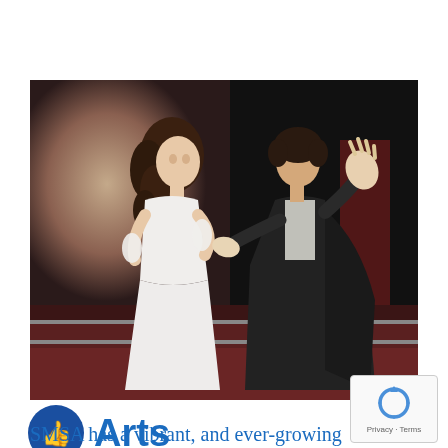[Figure (photo): Two performers on stage: a young woman in a white period dress with long curly brown hair facing right, and a young man in a dark cape raising his hand gesturing toward her. Stage has dark background and red/maroon paneling below.]
Arts
SMSA has a vibrant, and ever-growing